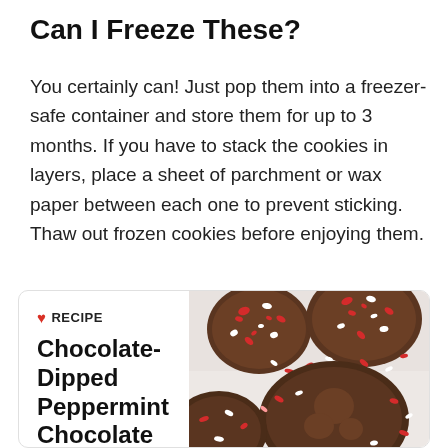Can I Freeze These?
You certainly can! Just pop them into a freezer-safe container and store them for up to 3 months. If you have to stack the cookies in layers, place a sheet of parchment or wax paper between each one to prevent sticking. Thaw out frozen cookies before enjoying them.
[Figure (infographic): Recipe card with heart icon, label 'RECIPE', title 'Chocolate-Dipped Peppermint Chocolate Sugar Cookies' on the left, and a photo of chocolate cookies dipped in red, white and pink peppermint sprinkles on the right.]